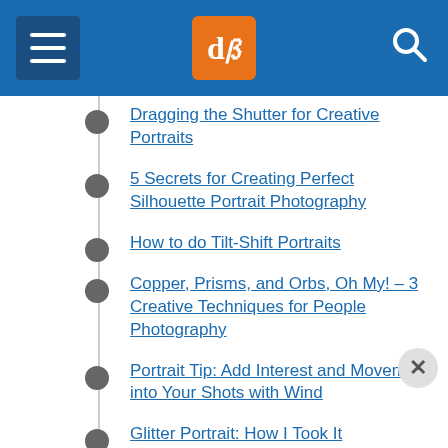dPS navigation header
Dragging the Shutter for Creative Portraits
5 Secrets for Creating Perfect Silhouette Portrait Photography
How to do Tilt-Shift Portraits
Copper, Prisms, and Orbs, Oh My! – 3 Creative Techniques for People Photography
Portrait Tip: Add Interest and Movement into Your Shots with Wind
Glitter Portrait: How I Took It
How to Create a Unique Bokeh Portrait for Under $10